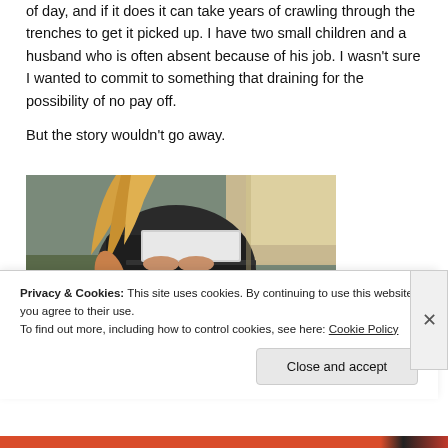of day, and if it does it can take years of crawling through the trenches to get it picked up. I have two small children and a husband who is often absent because of his job. I wasn't sure I wanted to commit to something that draining for the possibility of no pay off.
But the story wouldn't go away.
[Figure (photo): A woman with long blonde hair sitting on a couch working on a laptop, wearing a dark patterned dress.]
Privacy & Cookies: This site uses cookies. By continuing to use this website, you agree to their use.
To find out more, including how to control cookies, see here: Cookie Policy
Close and accept